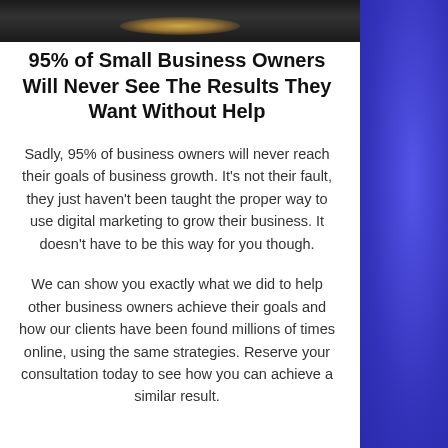[Figure (photo): Bottom portion of a photograph showing a person, cropped at the top of the page with dark background and warm gold highlight at bottom]
95% of Small Business Owners Will Never See The Results They Want Without Help
Sadly, 95% of business owners will never reach their goals of business growth. It's not their fault, they just haven't been taught the proper way to use digital marketing to grow their business. It doesn't have to be this way for you though.
We can show you exactly what we did to help other business owners achieve their goals and how our clients have been found millions of times online, using the same strategies. Reserve your consultation today to see how you can achieve a similar result.